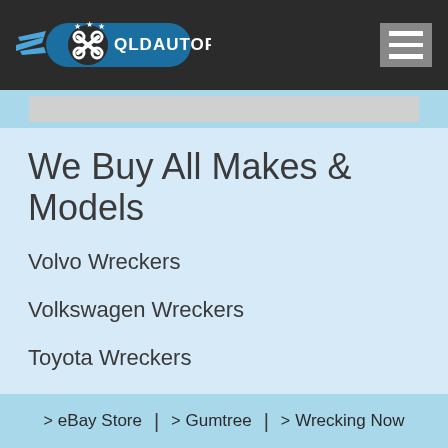[Figure (logo): QLD Auto Parts logo with crossed wrenches and wings on dark background]
We Buy All Makes & Models
Volvo Wreckers
Volkswagen Wreckers
Toyota Wreckers
> eBay Store | > Gumtree | > Wrecking Now